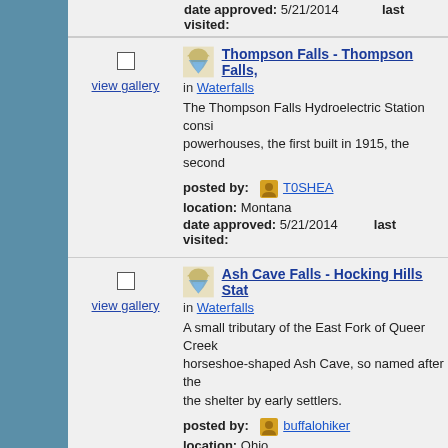date approved: 5/21/2014   last visited:
Thompson Falls - Thompson Falls, in Waterfalls. The Thompson Falls Hydroelectric Station consists of two powerhouses, the first built in 1915, the second ... posted by: T0SHEA location: Montana date approved: 5/21/2014 last visited:
Ash Cave Falls - Hocking Hills Stat in Waterfalls. A small tributary of the East Fork of Queer Creek ... horseshoe-shaped Ash Cave, so named after the shelter by early settlers. posted by: buffalohiker location: Ohio date approved: 4/30/2014 last visited:
Taranaki Falls. Tongariro National P in Waterfalls. view gallery